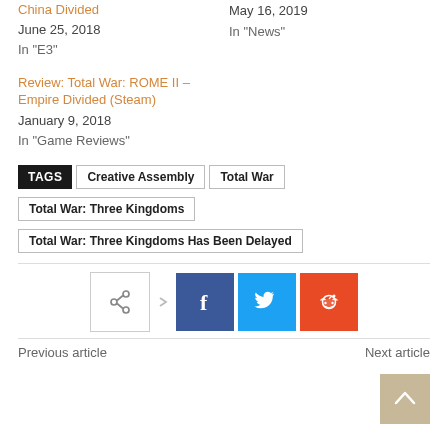China Divided
June 25, 2018
In "E3"
May 16, 2019
In "News"
Review: Total War: ROME II – Empire Divided (Steam)
January 9, 2018
In "Game Reviews"
TAGS  Creative Assembly  Total War  Total War: Three Kingdoms  Total War: Three Kingdoms Has Been Delayed
[Figure (infographic): Social share buttons: share icon (outline), Facebook (blue), Twitter (light blue), Reddit (orange-red)]
Previous article    Next article